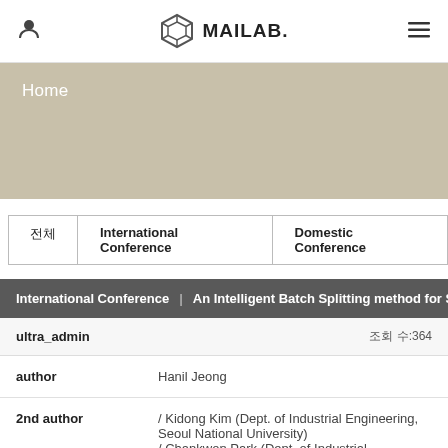MAILAB.
Home
전체 | International Conference | Domestic Conference
International Conference | An Intelligent Batch Splitting method for Sche...
ultra_admin  조회 수:364
| Field | Value |
| --- | --- |
| author | Hanil Jeong |
| 2nd author | / Kidong Kim (Dept. of Industrial Engineering, Seoul National University)
/ Chankwon Park (Dept. of Industrial Engineering, |